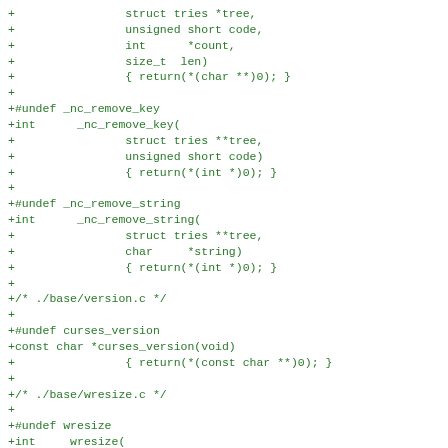+                struct tries *tree,
+                unsigned short code,
+                int      *count,
+                size_t  len)
+                { return(*(char **)0); }
+
+#undef _nc_remove_key
+int      _nc_remove_key(
+                struct tries **tree,
+                unsigned short code)
+                { return(*(int *)0); }
+
+#undef _nc_remove_string
+int      _nc_remove_string(
+                struct tries **tree,
+                char     *string)
+                { return(*(int *)0); }
+
+/* ./base/version.c */
+
+#undef curses_version
+const char *curses_version(void)
+                { return(*(const char **)0); }
+
+/* ./base/wresize.c */
+
+#undef wresize
+int     wresize(
+                WINDOW  *win,
+                int      ToLines,
+                int      ToCols)
+                { return(*(int *)0); }